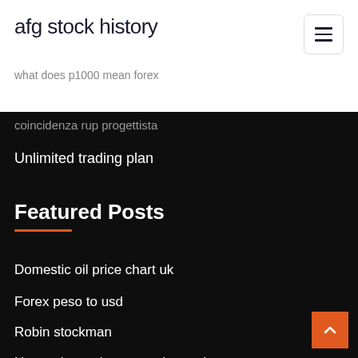afg stock history
what does p1000 mean forex
coincidenza rup progettista
Unlimited trading plan
Featured Posts
Domestic oil price chart uk
Forex peso to usd
Robin stockman
How to invest in companies early
Stock market crashing reason
Daily oil price app